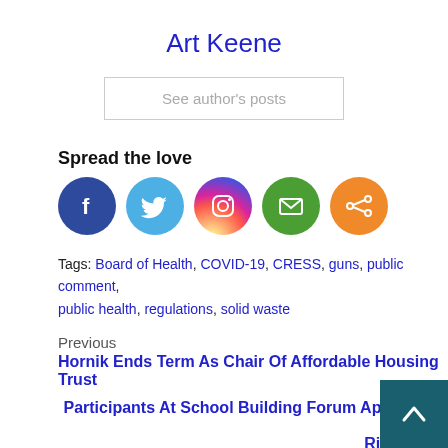Art Keene
See author's posts
Spread the love
[Figure (infographic): Social media share icons: Facebook (blue circle), Twitter (light blue circle), Instagram (gradient circle), Email (green circle), Share (orange circle)]
Tags: Board of Health, COVID-19, CRESS, guns, public comment, public health, regulations, solid waste
Previous
Hornik Ends Term As Chair Of Affordable Housing Trust
Participants At School Building Forum Appear To Favor River Site